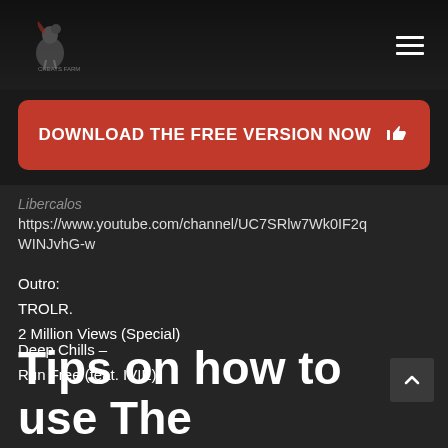[Figure (logo): Cheats Farm rooster logo icon, partially visible at top center]
[Figure (other): Hamburger menu icon (three horizontal lines) in top right corner]
DOWNLOAD THE FREE VERSION NOW
Libercalos
https://www.youtube.com/channel/UC7SRlw7Wk0IF2qWINJvhG-w
Outro:
TROLR.
2 Million Views (Special)
Deep Chills –
Run Free (feat. IVIE)
Tips on how to use The